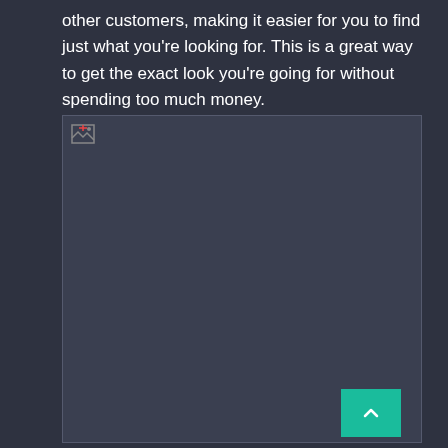other customers, making it easier for you to find just what you're looking for. This is a great way to get the exact look you're going for without spending too much money.
[Figure (photo): A failed/broken image placeholder with a small broken image icon in the top-left corner. The image region has a dark background matching the page.]